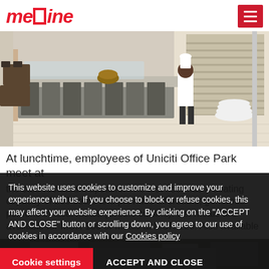medine
[Figure (photo): Interior of a cafeteria/restaurant with a long buffet counter, food displays, and a chef standing in the background near large windows]
At lunchtime, employees of Uniciti Office Park meet at the café-restaurant upstairs. The first floor has a seating capacity of 200 seats and provides affordable, generous portions of local meals (Creole cuisine). Set meals are available for MUR 160 or meals at MUR 120. Also available are sandwiches and Panini breads.
This website uses cookies to customize and improve your experience with us. If you choose to block or refuse cookies, this may affect your website experience. By clicking on the "ACCEPT AND CLOSE" button or scrolling down, you agree to our use of cookies in accordance with our Cookies policy
[Figure (photo): Bottom partial strip showing another interior photo]